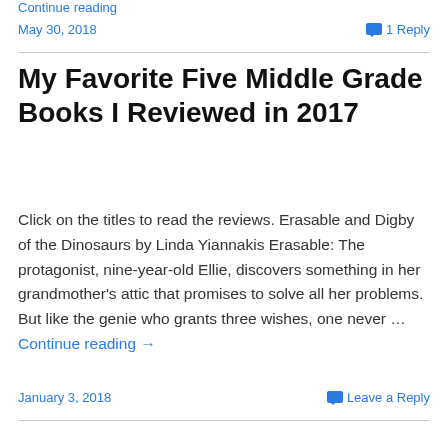Continue reading
May 30, 2018
1 Reply
My Favorite Five Middle Grade Books I Reviewed in 2017
Click on the titles to read the reviews. Erasable and Digby of the Dinosaurs by Linda Yiannakis Erasable: The protagonist, nine-year-old Ellie, discovers something in her grandmother's attic that promises to solve all her problems. But like the genie who grants three wishes, one never … Continue reading →
January 3, 2018
Leave a Reply